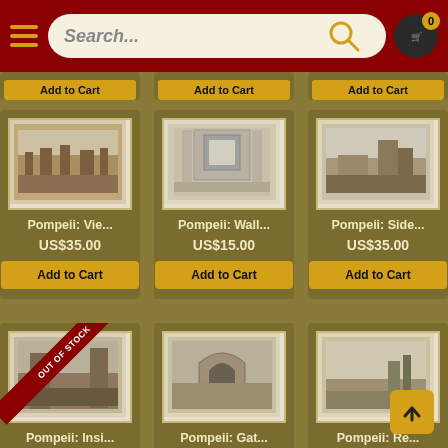[Figure (screenshot): E-commerce product listing page showing Pompeii antique prints/photographs for sale. Dark red navigation bar at top with hamburger menu, search bar, and cart icon showing 0 items. Gold/olive background grid of product cards showing 6 products: Pompeii: Vie... US$35.00, Pompeii: Wall... US$15.00, Pompeii: Side... US$35.00 (row 2), Pompeii: Insi... (Out of Stock), Pompeii: Gat..., Pompeii: Re... (row 3, partially visible). Each card has a sepia photograph, title, price, and Add to Cart button. Bottom right has scroll-to-top arrow button.]